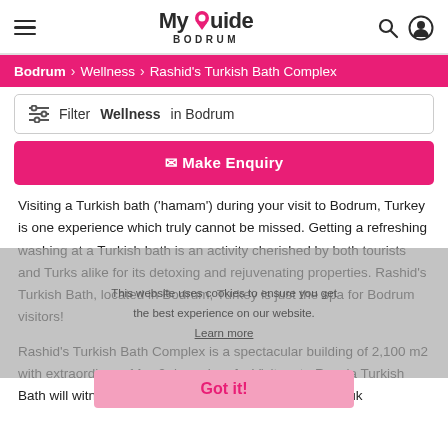[Figure (logo): My Guide Bodrum logo with pink location pin replacing letter G]
Bodrum > Wellness > Rashid's Turkish Bath Complex
Filter Wellness in Bodrum
Make Enquiry
Visiting a Turkish bath ('hamam') during your visit to Bodrum, Turkey is one experience which truly cannot be missed. Getting a refreshing washing at a Turkish bath is an activity cherished by both tourists and Turks alike for its detoxing and rejuvenating properties. Rashid's Turkish Bath, located in Bodrum, Turkey is just the spa for Bodrum visitors!
Rashid's Turkish Bath Complex is a spectacular building of 2,100 m2 with extraordinary 11 m2 domed roofs. Visitors to Rayola Turkish Bath will witness a fusion of architecture from both Selcuk